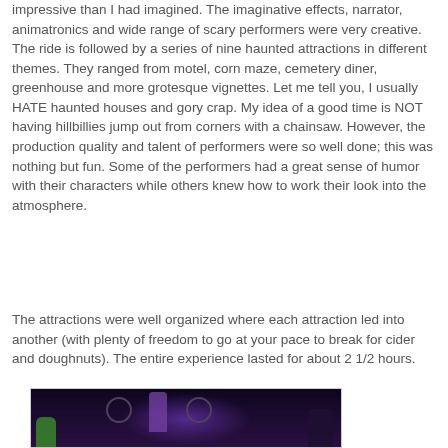impressive than I had imagined. The imaginative effects, narrator, animatronics and wide range of scary performers were very creative. The ride is followed by a series of nine haunted attractions in different themes. They ranged from motel, corn maze, cemetery diner, greenhouse and more grotesque vignettes. Let me tell you, I usually HATE haunted houses and gory crap. My idea of a good time is NOT having hillbillies jump out from corners with a chainsaw. However, the production quality and talent of performers were so well done; this was nothing but fun. Some of the performers had a great sense of humor with their characters while others knew how to work their look into the atmosphere.
The attractions were well organized where each attraction led into another (with plenty of freedom to go at your pace to break for cider and doughnuts). The entire experience lasted for about 2 1/2 hours.
[Figure (photo): Dark haunted attraction scene with purple lighting, animatronic figures, circular mechanical elements, a green-lit figure on the left, and dark silhouettes against a purple-lit background.]